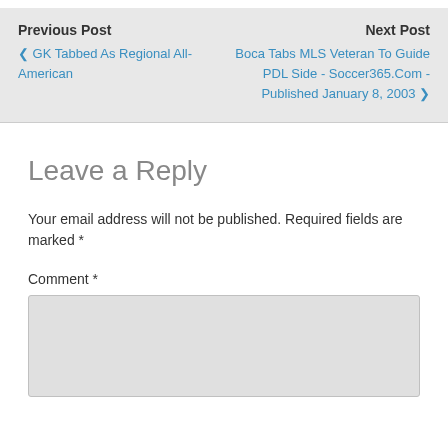Previous Post
< GK Tabbed As Regional All-American
Next Post
Boca Tabs MLS Veteran To Guide PDL Side - Soccer365.Com - Published January 8, 2003 >
Leave a Reply
Your email address will not be published. Required fields are marked *
Comment *